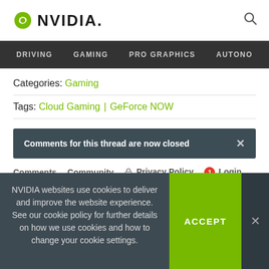NVIDIA
DRIVING | GAMING | PRO GRAPHICS | AUTONO
Categories: Gaming
Tags: Cloud Gaming | GeForce NOW
Comments for this thread are now closed
Comments    Community    Privacy Policy    1    Login
NVIDIA websites use cookies to deliver and improve the website experience. See our cookie policy for further details on how we use cookies and how to change your cookie settings.